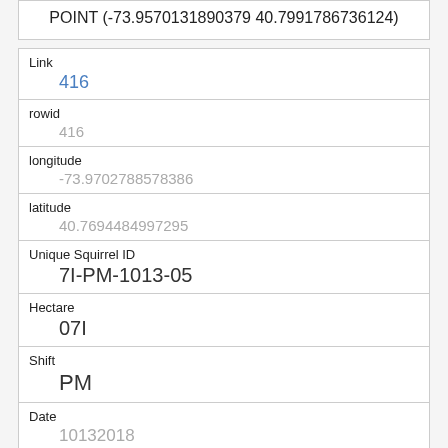POINT (-73.9570131890379 40.7991786736124)
| Field | Value |
| --- | --- |
| Link | 416 |
| rowid | 416 |
| longitude | -73.9702788578386 |
| latitude | 40.7694484997295 |
| Unique Squirrel ID | 7I-PM-1013-05 |
| Hectare | 07I |
| Shift | PM |
| Date | 10132018 |
| Hectare Squirrel Number | 5 |